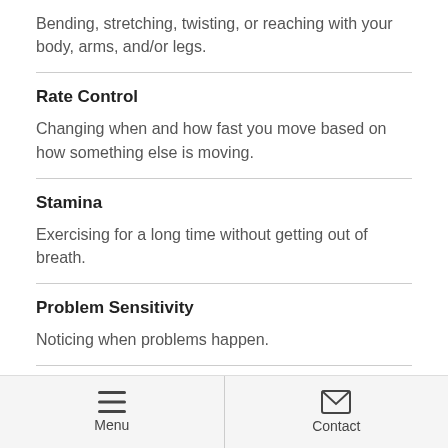Bending, stretching, twisting, or reaching with your body, arms, and/or legs.
Rate Control
Changing when and how fast you move based on how something else is moving.
Stamina
Exercising for a long time without getting out of breath.
Problem Sensitivity
Noticing when problems happen.
Multilimb Coordination
Menu   Contact